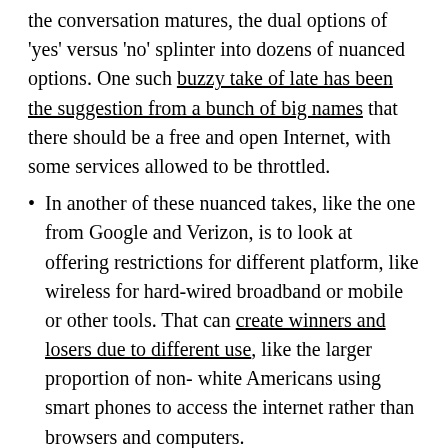the conversation matures, the dual options of 'yes' versus 'no' splinter into dozens of nuanced options. One such buzzy take of late has been the suggestion from a bunch of big names that there should be a free and open Internet, with some services allowed to be throttled.
In another of these nuanced takes, like the one from Google and Verizon, is to look at offering restrictions for different platform, like wireless for hard-wired broadband or mobile or other tools. That can create winners and losers due to different use, like the larger proportion of non-white Americans using smart phones to access the internet rather than browsers and computers.
As another final takeway, I suggested that audience members think about the interesting divide Philadelphians have regarding Comcast and if that company were to want a more restricted internet structure: the growth and